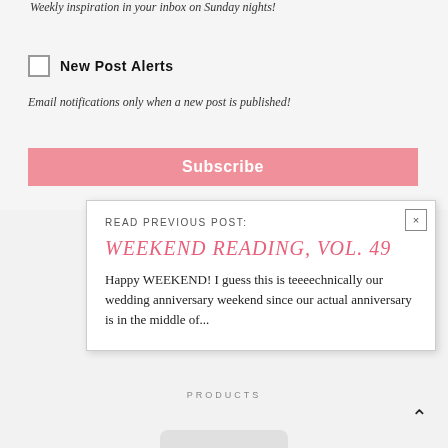Weekly inspiration in your inbox on Sunday nights!
New Post Alerts
Email notifications only when a new post is published!
Subscribe
READ PREVIOUS POST:
WEEKEND READING, VOL. 49
Happy WEEKEND! I guess this is teeeechnically our wedding anniversary weekend since our actual anniversary is in the middle of...
PRODUCTS